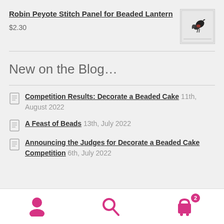Robin Peyote Stitch Panel for Beaded Lantern
$2.30
[Figure (illustration): Small thumbnail image of a robin bird beaded panel on a light gray background]
New on the Blog…
Competition Results: Decorate a Beaded Cake 11th, August 2022
A Feast of Beads 13th, July 2022
Announcing the Judges for Decorate a Beaded Cake Competition 6th, July 2022
Navigation icons: user, search, cart (2 items)